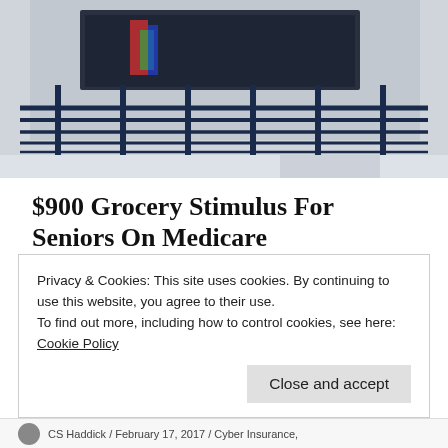[Figure (photo): Building exterior with blue metal railings/barriers, brick facade, and glass doors visible in background]
$900 Grocery Stimulus For Seniors On Medicare
bestmedicareplans.com
Share this:
Tweet
Privacy & Cookies: This site uses cookies. By continuing to use this website, you agree to their use.
To find out more, including how to control cookies, see here:
Cookie Policy
Close and accept
CS Haddick / February 17, 2017 / Cyber Insurance, ...